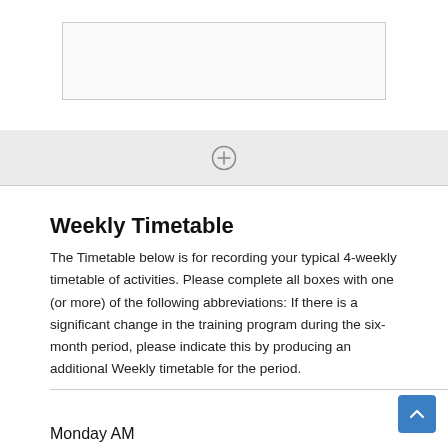[Figure (other): A text input box (empty, light gray background with border) above a light gray add-row bar containing a circled plus icon]
Weekly Timetable
The Timetable below is for recording your typical 4-weekly timetable of activities. Please complete all boxes with one (or more) of the following abbreviations: If there is a significant change in the training program during the six-month period, please indicate this by producing an additional Weekly timetable for the period.
Monday AM